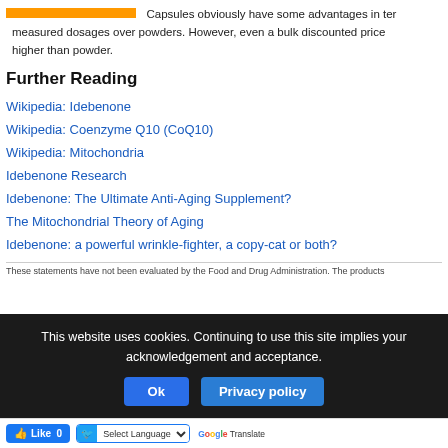Capsules obviously have some advantages in terms of measured dosages over powders. However, even a bulk discounted price higher than powder.
Further Reading
Wikipedia: Idebenone
Wikipedia: Coenzyme Q10 (CoQ10)
Wikipedia: Mitochondria
Idebenone Research
Idebenone: The Ultimate Anti-Aging Supplement?
The Mitochondrial Theory of Aging
Idebenone: a powerful wrinkle-fighter, a copy-cat or both?
These statements have not been evaluated by the Food and Drug Administration. The products
This website uses cookies. Continuing to use this site implies your acknowledgement and acceptance.
Like 0   Select Language   Powered by Google Translate